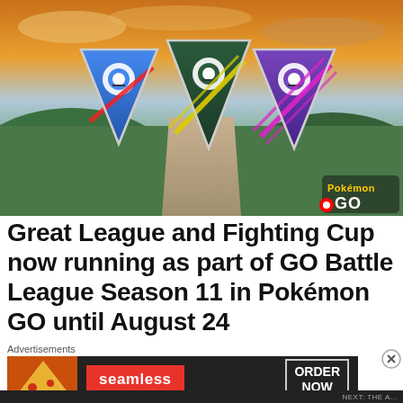[Figure (illustration): Pokemon GO Battle League Season 11 promotional image showing three triangular league badges (Great League blue, Ultra League dark green, Master League purple) over a scenic mountain path with golden sky. Pokemon GO logo in lower right.]
Great League and Fighting Cup now running as part of GO Battle League Season 11 in Pokémon GO until August 24
Advertisements
[Figure (other): Advertisement banner for Seamless food delivery app showing pizza slices on left, red 'seamless' logo in center, and 'ORDER NOW' button on right with dark background.]